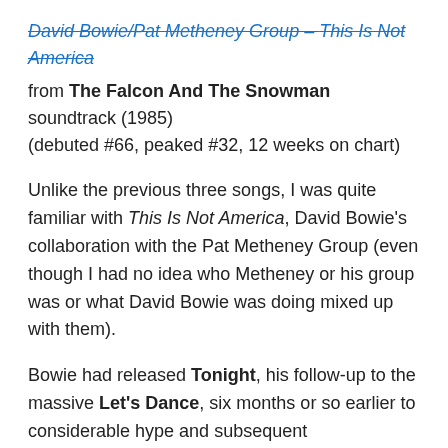David Bowie/Pat Metheney Group – This Is Not America
from The Falcon And The Snowman soundtrack (1985) (debuted #66, peaked #32, 12 weeks on chart)
Unlike the previous three songs, I was quite familiar with This Is Not America, David Bowie's collaboration with the Pat Metheney Group (even though I had no idea who Metheney or his group was or what David Bowie was doing mixed up with them).
Bowie had released Tonight, his follow-up to the massive Let's Dance, six months or so earlier to considerable hype and subsequent disappointment. This Is Not America, taken from the soundtrack to The Falcon And The Snowman – a Cold War thriller starring Sean Penn and Timothy Hutton – wasn't a big hit, but the moody, hypnotic song was far better than anything on Tonight (aside from